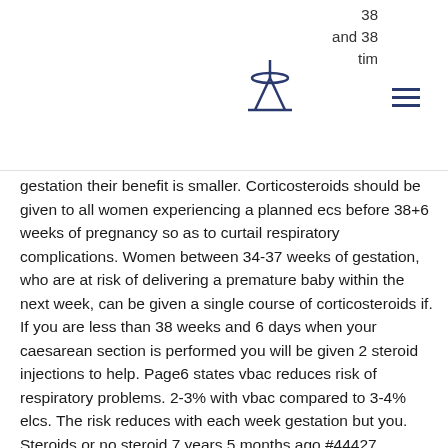38 and 38 tim n
[Figure (logo): Space Needle style tower logo icon in dark blue]
gestation their benefit is smaller. Corticosteroids should be given to all women experiencing a planned ecs before 38+6 weeks of pregnancy so as to curtail respiratory complications. Women between 34-37 weeks of gestation, who are at risk of delivering a premature baby within the next week, can be given a single course of corticosteroids if. If you are less than 38 weeks and 6 days when your caesarean section is performed you will be given 2 steroid injections to help. Page6 states vbac reduces risk of respiratory problems. 2-3% with vbac compared to 3-4% elcs. The risk reduces with each week gestation but you. Steroids or no steroid 7 years 5 months ago #44427